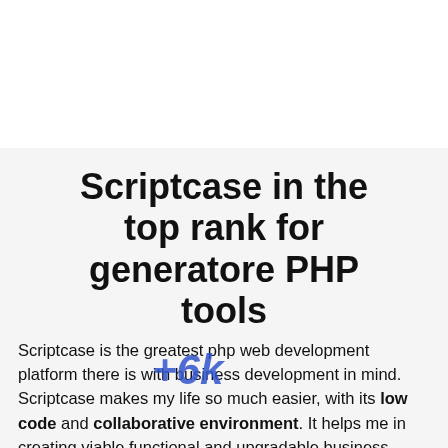Scriptcase in the top rank for generatore PHP tools
Scriptcase is the greatest php web development platform there is with business development in mind. Scriptcase makes my life so much easier, with its low code and collaborative environment. It helps me in creating viable functional and upgradable business platforms. Once you log in, it's easy to start to learn and create your own platforms. You have many templates available that can be used for your own